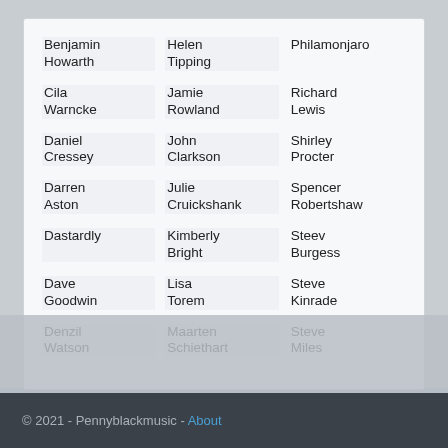Benjamin Howarth
Helen Tipping
Philamonjaro
Cila Warncke
Jamie Rowland
Richard Lewis
Daniel Cressey
John Clarkson
Shirley Procter
Darren Aston
Julie Cruickshank
Spencer Robertshaw
Dastardly
Kimberly Bright
Steev Burgess
Dave Goodwin
Lisa Torem
Steve Kinrade
Denzil Watson
Maarten Schiethart
Steve Miles
© 2021 - Pennyblackmusic - About